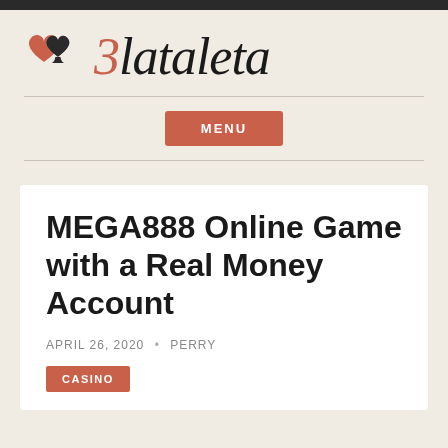[Figure (logo): Zlataleta website logo with heart and spade suit icons and stylized cursive text]
MENU
MEGA888 Online Game with a Real Money Account
APRIL 26, 2020 · PERRY
CASINO